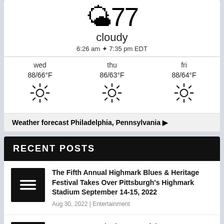[Figure (screenshot): Weather widget showing temperature 77°F, cloudy, sunrise 6:26am sunset 7:35pm EDT, with 3-day forecast for wed (88/66°F), thu (86/63°F), fri (88/64°F) all sunny]
Weather forecast Philadelphia, Pennsylvania ▶
RECENT POSTS
The Fifth Annual Highmark Blues & Heritage Festival Takes Over Pittsburgh's Highmark Stadium September 14-15, 2022 | Aug 30, 2022 | Entertainment
VOKE Energy Cited as One of the Top Supplement Products of the Month by NewsHealthwatch